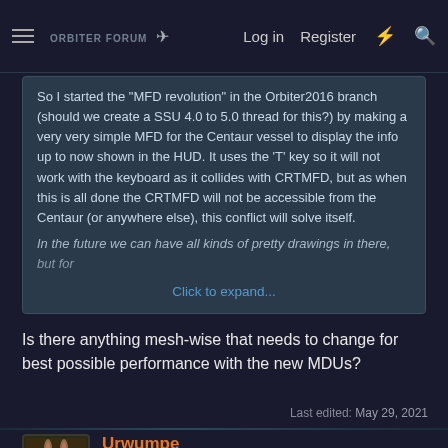Orbiter Forum — Log in  Register
So I started the "MFD revolution" in the Orbiter2016 branch (should we create a SSU 4.0 to 5.0 thread for this?) by making a very very simple MFD for the Centaur vessel to display the info up to now shown in the HUD. It uses the 'T' key so it will not work with the keyboard as it collides with CRTMFD, but as when this is all done the CRTMFD will not be accessible from the Centaur (or anywhere else), this conflict will solve itself.
In the future we can have all kinds of pretty drawings in there, but for — Click to expand...
Is there anything mesh-wise that needs to change for best possible performance with the new MDUs?
Last edited: May 29, 2021
Urwumpe
Not funny anymore  ADDON DEV.  DONATOR
Jun 11, 2016
#2
Dave...